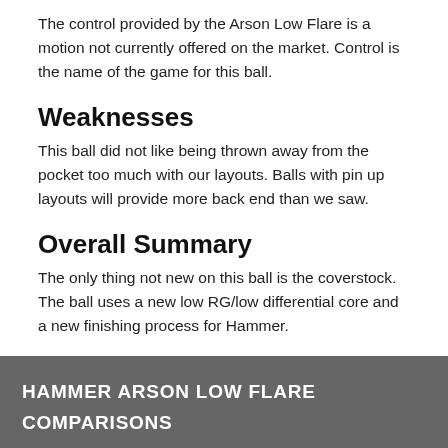The control provided by the Arson Low Flare is a motion not currently offered on the market. Control is the name of the game for this ball.
Weaknesses
This ball did not like being thrown away from the pocket too much with our layouts. Balls with pin up layouts will provide more back end than we saw.
Overall Summary
The only thing not new on this ball is the coverstock. The ball uses a new low RG/low differential core and a new finishing process for Hammer.
HAMMER ARSON LOW FLARE COMPARISONS
Click below to see a comparison table of the pair of bowling balls shown: